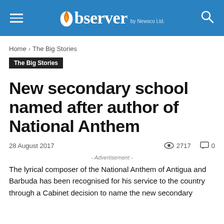Observer by Newsco Ltd.
Home › The Big Stories
The Big Stories
New secondary school named after author of National Anthem
28 August 2017  🔍 2717  💬 0
- Advertisement -
The lyrical composer of the National Anthem of Antigua and Barbuda has been recognised for his service to the country through a Cabinet decision to name the new secondary